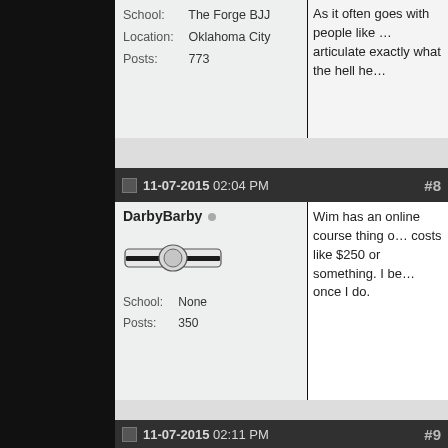School: The Forge BJJ
Location: Oklahoma City
Posts: 773
As it often goes with people like … articulate exactly what the hell he…
11-07-2015 02:04 PM  #8
DarbyBarby
School: None
Posts: 350
Wim has an online course thing o… costs like $250 or something. I be… once I do.
11-07-2015 02:11 PM  #9
Richard Jeans
School: NZ
Posts: 37
So since my last post I have now… I also took a walk down by the la… rugged up in fleeces etc.
I did 30 breaths of my interpretat…
It worked. I walked around for 30…
Incredible feeling of energy withi… take it up a notch - the lake here…
Im going in